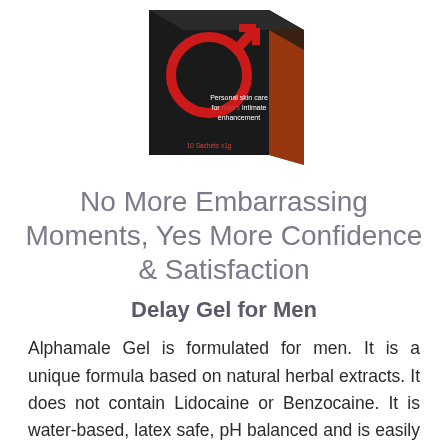[Figure (illustration): Product box for Alphamale Gel - a dark box with a red male symbol on it, text reading 'Personal skin care for men's intimate enhancement', '10 Sachets x1g']
No More Embarrassing Moments, Yes More Confidence & Satisfaction
Delay Gel for Men
Alphamale Gel is formulated for men. It is a unique formula based on natural herbal extracts. It does not contain Lidocaine or Benzocaine. It is water-based, latex safe, pH balanced and is easily absorbed by the skin. It...